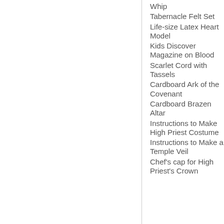Whip
Tabernacle Felt Set
Life-size Latex Heart Model
Kids Discover Magazine on Blood
Scarlet Cord with Tassels
Cardboard Ark of the Covenant
Cardboard Brazen Altar
Instructions to Make High Priest Costume
Instructions to Make a Temple Veil
Chef's cap for High Priest's Crown